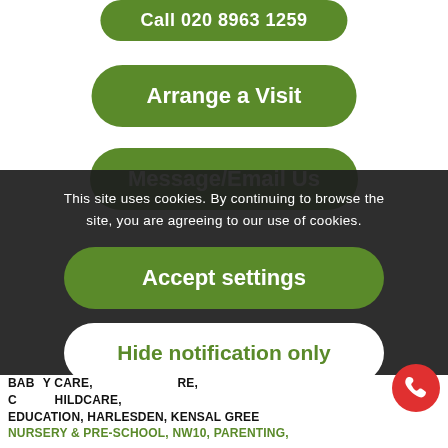Call 020 8963 1259
Arrange a Visit
Message/Email Us
This site uses cookies. By continuing to browse the site, you are agreeing to our use of cookies.
Accept settings
Hide notification only
BABY CARE, RE, CHILDCARE, EDUCATION, HARLESDEN, KENSAL GREEN,
NURSERY & PRE-SCHOOL, NW10, PARENTING,